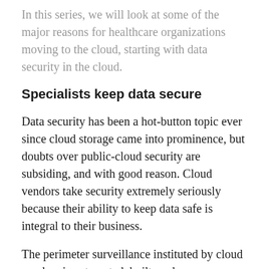In this series, we will look at some of the major reasons for healthcare organizations moving to the cloud, starting with data security in the cloud.
Specialists keep data secure
Data security has been a hot-button topic ever since cloud storage came into prominence, but doubts over public-cloud security are subsiding, and with good reason. Cloud vendors take security extremely seriously because their ability to keep data safe is integral to their business.
The perimeter surveillance instituted by cloud vendors is automated, built, and